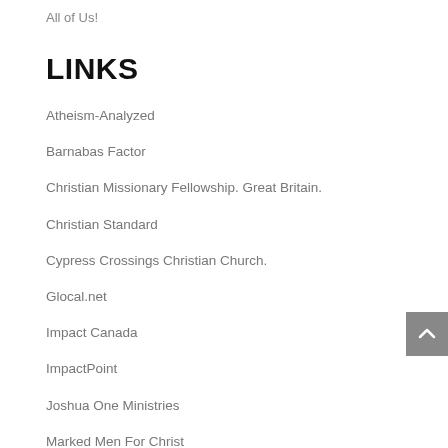All of Us!
LINKS
Atheism-Analyzed
Barnabas Factor
Christian Missionary Fellowship. Great Britain.
Christian Standard
Cypress Crossings Christian Church.
Glocal.net
Impact Canada
ImpactPoint
Joshua One Ministries
Marked Men For Christ
Vintage Faith